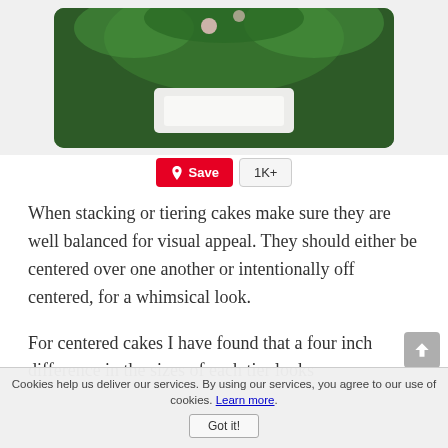[Figure (photo): Wedding cake photo with greenery/floral decoration, watermark reading 'wedding-cakes-for-you.com']
Save  1K+
When stacking or tiering cakes make sure they are well balanced for visual appeal. They should either be centered over one another or intentionally off centered, for a whimsical look.
For centered cakes I have found that a four inch difference in the sizes of each tier looks
Cookies help us deliver our services. By using our services, you agree to our use of cookies. Learn more. Got it!